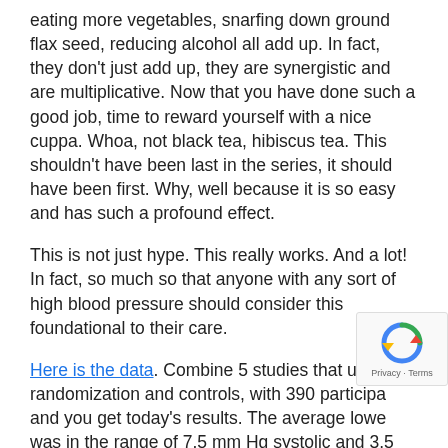eating more vegetables, snarfing down ground flax seed, reducing alcohol all add up. In fact, they don't just add up, they are synergistic and are multiplicative. Now that you have done such a good job, time to reward yourself with a nice cuppa. Whoa, not black tea, hibiscus tea. This shouldn't have been last in the series, it should have been first. Why, well because it is so easy and has such a profound effect.
This is not just hype. This really works. And a lot! In fact, so much so that anyone with any sort of high blood pressure should consider this foundational to their care.
Here is the data. Combine 5 studies that used randomization and controls, with 390 participants and you get today's results. The average lower was in the range of 7.5 mm Hg systolic and 3.5 mm